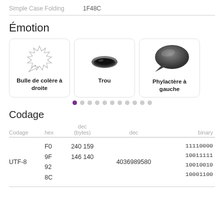Simple Case Folding   1F48C
Émotion
[Figure (illustration): Three emoji cards showing: 1) Bulle de colère à droite (anger bubble), 2) Trou (hole), 3) Phylactère à gauche (speech bubble left). With pagination dots below (first dot active/purple).]
Codage
| Codage | hex | dec
(bytes) | dec | binary |
| --- | --- | --- | --- | --- |
| UTF-8 | F0
9F
92
8C | 240 159
146 140 | 4036989580 | 11110000
10011111
10010010
10001100 |